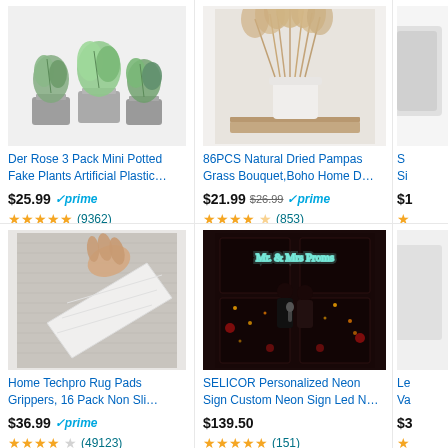[Figure (photo): Three mini potted fake green plants in gray cement pots]
Der Rose 3 Pack Mini Potted Fake Plants Artificial Plastic…
$25.99 ✓prime
★★★★★ (9362)
[Figure (photo): 86PCS Natural Dried Pampas Grass Bouquet in white vase on wooden shelf]
86PCS Natural Dried Pampas Grass Bouquet,Boho Home D…
$21.99 $26.99 ✓prime
★★★★½ (853)
[Figure (photo): Partial view of a product (cropped on right side)]
[Figure (photo): Hand placing a white non-slip rug pad gripper on a gray rug]
Home Techpro Rug Pads Grippers, 16 Pack Non Sli…
$36.99 ✓prime
★★★★☆ (49123)
[Figure (photo): SELICOR Personalized Neon Sign with Mr & Mrs Proms text in dark room with candles and roses]
SELICOR Personalized Neon Sign Custom Neon Sign Led N…
$139.50
★★★★★ (151)
[Figure (photo): Partial product image cropped on right side]